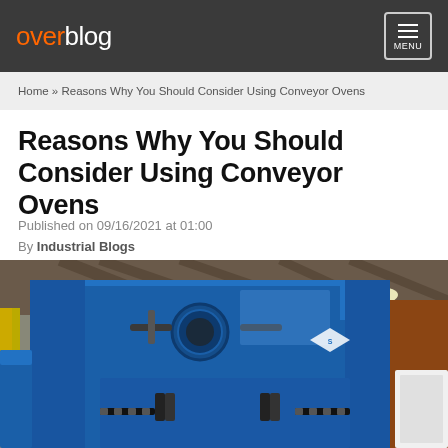overblog  MENU
Home » Reasons Why You Should Consider Using Conveyor Ovens
Reasons Why You Should Consider Using Conveyor Ovens
Published on 09/16/2021 at 01:00
By Industrial Blogs
[Figure (photo): Large blue industrial conveyor oven photographed inside a warehouse/factory setting. The oven is a large blue metal cabinet with industrial latches and circular port windows, bearing a diamond-shaped logo. The warehouse ceiling and structure are visible in the background.]